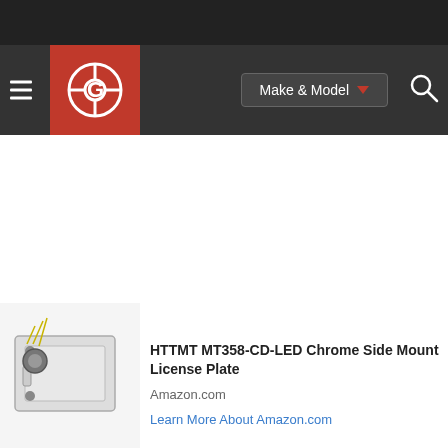[Figure (screenshot): Website navigation bar with hamburger menu, red logo with gear/target icon, Make & Model dropdown button, and search icon on dark background]
[Figure (photo): Chrome side mount license plate bracket product image on white/grey background]
HTTMT MT358-CD-LED Chrome Side Mount License Plate
Amazon.com
Learn More About Amazon.com